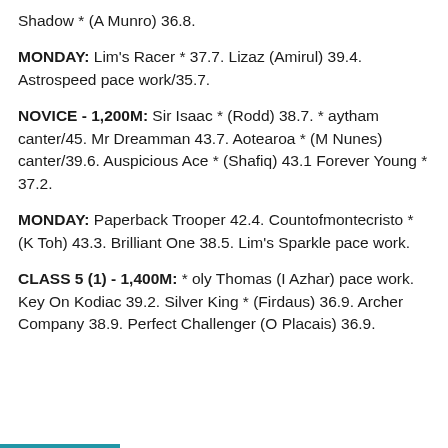Shadow * (A Munro) 36.8.
MONDAY: Lim's Racer * 37.7. Lizaz (Amirul) 39.4. Astrospeed pace work/35.7.
NOVICE - 1,200M: Sir Isaac * (Rodd) 38.7. * aytham canter/45. Mr Dreamman 43.7. Aotearoa * (M Nunes) canter/39.6. Auspicious Ace * (Shafiq) 43.1 Forever Young * 37.2.
MONDAY: Paperback Trooper 42.4. Countofmontecristo * (K Toh) 43.3. Brilliant One 38.5. Lim's Sparkle pace work.
CLASS 5 (1) - 1,400M: * oly Thomas (I Azhar) pace work. Key On Kodiac 39.2. Silver King * (Firdaus) 36.9. Archer Company 38.9. Perfect Challenger (O Placais) 36.9.